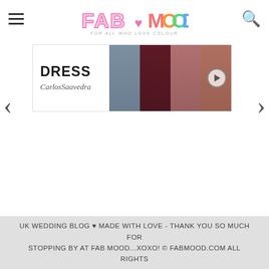FAB MOOD - FOR ALL WHO LOVE COLOUR
[Figure (photo): Advertisement banner for dress brand Carlos Saavedra showing women in formal dresses in grey, burgundy, pink/mauve, and dusty rose colors, with a play button icon]
UK WEDDING BLOG ♥ MADE WITH LOVE - THANK YOU SO MUCH FOR STOPPING BY AT FAB MOOD...XOXO! © FABMOOD.COM ALL RIGHTS